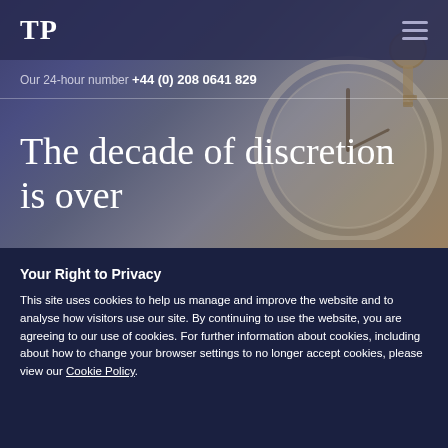TP
Our 24-hour number +44 (0) 208 0641 829
The decade of discretion is over
Your Right to Privacy
This site uses cookies to help us manage and improve the website and to analyse how visitors use our site. By continuing to use the website, you are agreeing to our use of cookies. For further information about cookies, including about how to change your browser settings to no longer accept cookies, please view our Cookie Policy.
OK
Sign up to The Lede